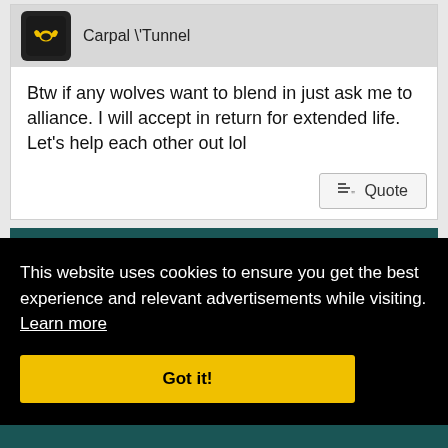[Figure (screenshot): Forum post screenshot showing two posts. First post from 'Carpal \'Tunnel' with Batman avatar saying 'Btw if any wolves want to blend in just ask me to alliance. I will accept in return for extended life. Let's help each other out lol' with a Quote button. Second post dated 07-12-2014, 02:22 AM post #1243 from 'TheBrokenATM!' also Carpal \'Tunnel. A cookie consent overlay covers the lower portion saying 'This website uses cookies to ensure you get the best experience and relevant advertisements while visiting. Learn more' with a 'Got it!' button.]